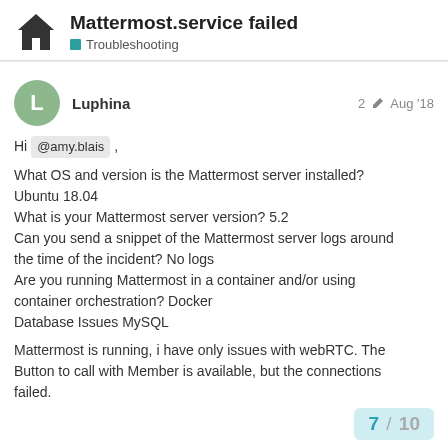Mattermost.service failed — Troubleshooting
Hi @amy.blais ,

What OS and version is the Mattermost server installed? Ubuntu 18.04
What is your Mattermost server version? 5.2
Can you send a snippet of the Mattermost server logs around the time of the incident? No logs
Are you running Mattermost in a container and/or using container orchestration? Docker
Database Issues MySQL

Mattermost is running, i have only issues with webRTC. The Button to call with Member is available, but the connections failed.
7 / 10